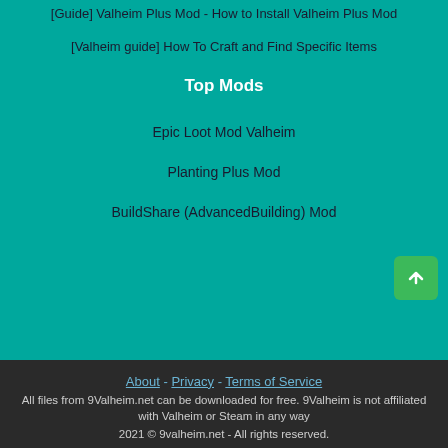[Guide] Valheim Plus Mod - How to Install Valheim Plus Mod
[Valheim guide] How To Craft and Find Specific Items
Top Mods
Epic Loot Mod Valheim
Planting Plus Mod
BuildShare (AdvancedBuilding) Mod
About - Privacy - Terms of Service
All files from 9Valheim.net can be downloaded for free. 9Valheim is not affiliated with Valheim or Steam in any way
2021 © 9valheim.net - All rights reserved.